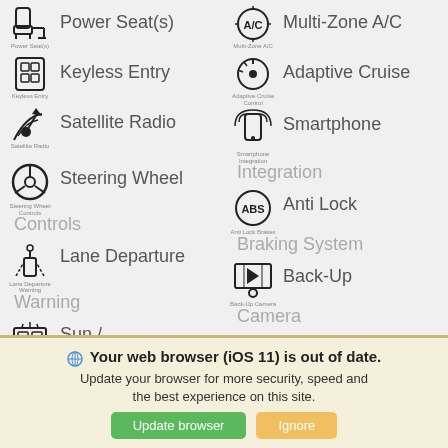[Figure (infographic): Car features icon grid with two columns: left column (Power Seat(s), Keyless Entry, Satellite Radio, Steering Wheel Controls, Lane Departure Warning, Sun/Moonroof) and right column (Multi-Zone A/C, Adaptive Cruise, Smartphone Integration, Anti Lock Braking System, Back-Up Camera, All Wheel Drive). Each feature has a black icon above a small label and a larger gray feature name text.]
Your web browser (iOS 11) is out of date. Update your browser for more security, speed and the best experience on this site.
Update browser
Ignore